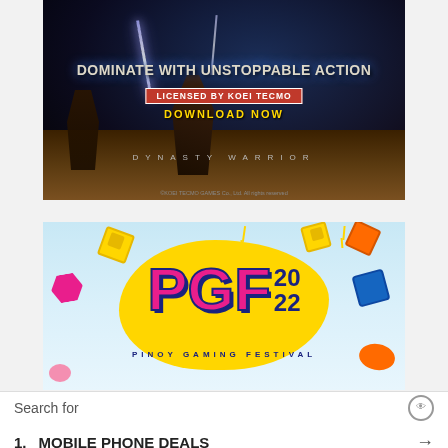[Figure (illustration): Dynasty Warrior mobile game advertisement. Dark battle scene background with warriors, text 'DOMINATE WITH UNSTOPPABLE ACTION', 'LICENSED BY KOEI TECMO', 'DOWNLOAD NOW', 'DYNASTY WARRIOR'. Koei Tecmo Games copyright notice at bottom.]
[Figure (illustration): PGF 2022 Pinoy Gaming Festival advertisement. Light blue background with colorful 3D cube decorations, yellow brain-shaped blob, pink PGF logo text with blue '20 22' year, subtitle 'PINOY GAMING FESTIVAL'.]
Search for
1.  MOBILE PHONE DEALS →
2.  THE MOBILE GAME →
Ad | Business Focus